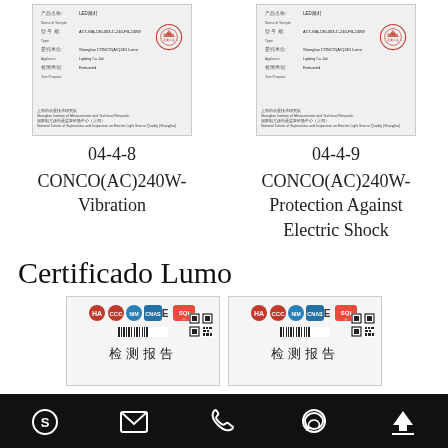[Figure (photo): Certificate document image for 04-4-8 test, showing official Chinese testing institute stamp]
[Figure (photo): Certificate document image for 04-4-9 test, showing official Chinese testing institute stamp]
04-4-8
04-4-9
CONCO(AC)240W-
Vibration
CONCO(AC)240W-
Protection Against
Electric Shock
Certificado Lumo
[Figure (photo): Chinese test report certificate with logos and 检测报告 title]
[Figure (photo): Chinese test report certificate with logos and 检测报告 title]
Footer navigation bar with icons: Skype, email, phone, WhatsApp, scroll-to-top